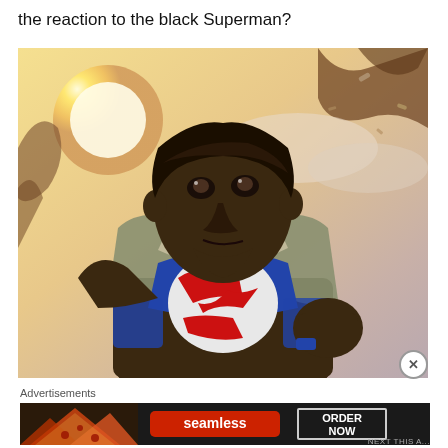the reaction to the black Superman?
[Figure (illustration): Comic book illustration of a Black Superman character tearing open his shirt to reveal the Superman 'S' symbol on his chest. The character looks upward heroically. Background shows a bright sun/light halo, trees, and a cloudy sky in warm tones.]
Advertisements
[Figure (other): Advertisement banner for Seamless food ordering service, showing pizza slices on the left, the Seamless logo in a red rounded rectangle in the center, and an 'ORDER NOW' button outlined in white on the right, all on a dark background.]